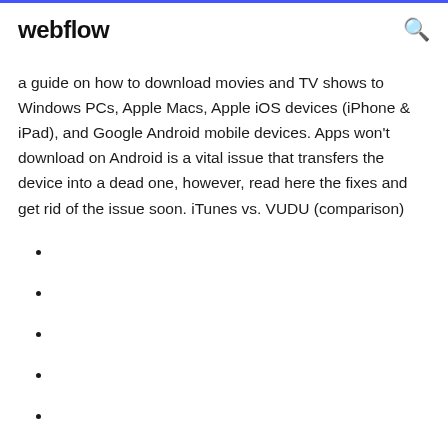webflow
a guide on how to download movies and TV shows to Windows PCs, Apple Macs, Apple iOS devices (iPhone & iPad), and Google Android mobile devices. Apps won't download on Android is a vital issue that transfers the device into a dead one, however, read here the fixes and get rid of the issue soon. iTunes vs. VUDU (comparison)